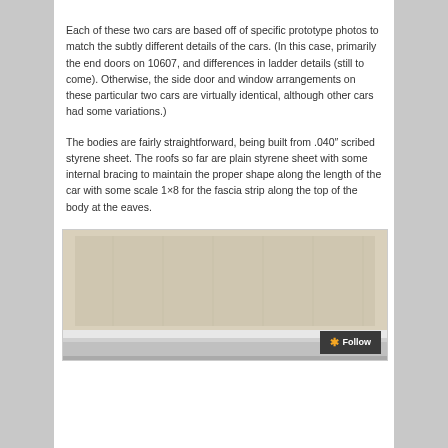Each of these two cars are based off of specific prototype photos to match the subtly different details of the cars. (In this case, primarily the end doors on 10607, and differences in ladder details (still to come). Otherwise, the side door and window arrangements on these particular two cars are virtually identical, although other cars had some variations.)
The bodies are fairly straightforward, being built from .040″ scribed styrene sheet. The roofs so far are plain styrene sheet with some internal bracing to maintain the proper shape along the length of the car with some scale 1×8 for the fascia strip along the top of the body at the eaves.
[Figure (photo): A photo showing what appears to be a model train car body or roof structure, displaying a tan/beige colored surface with some white structural elements visible at the bottom edge.]